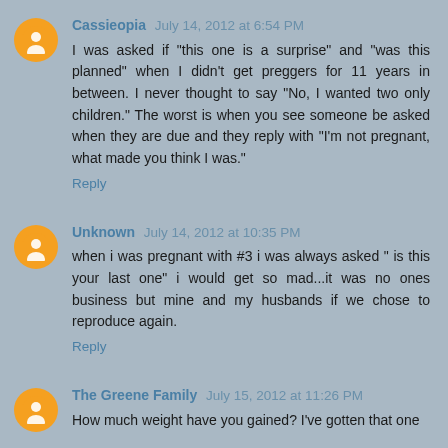Cassieopia July 14, 2012 at 6:54 PM
I was asked if "this one is a surprise" and "was this planned" when I didn't get preggers for 11 years in between. I never thought to say "No, I wanted two only children." The worst is when you see someone be asked when they are due and they reply with "I'm not pregnant, what made you think I was."
Reply
Unknown July 14, 2012 at 10:35 PM
when i was pregnant with #3 i was always asked " is this your last one" i would get so mad...it was no ones business but mine and my husbands if we chose to reproduce again.
Reply
The Greene Family July 15, 2012 at 11:26 PM
How much weight have you gained? I've gotten that one